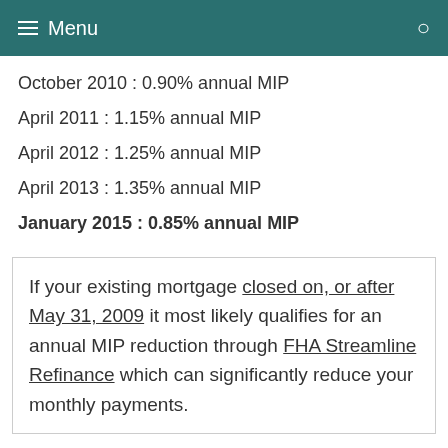Menu
October 2010 : 0.90% annual MIP
April 2011 : 1.15% annual MIP
April 2012 : 1.25% annual MIP
April 2013 : 1.35% annual MIP
January 2015 : 0.85% annual MIP
If your existing mortgage closed on, or after May 31, 2009 it most likely qualifies for an annual MIP reduction through FHA Streamline Refinance which can significantly reduce your monthly payments.